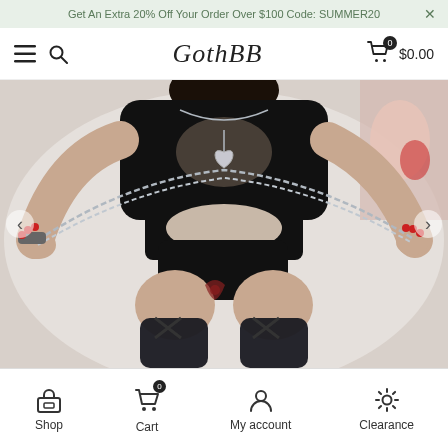Get An Extra 20% Off Your Order Over $100 Code: SUMMER20
GothBB
$0.00
[Figure (photo): A woman wearing a black ribbed cut-out bodysuit with silver chains, posed on a bed with dark stockings.]
Shop | Cart | My account | Clearance